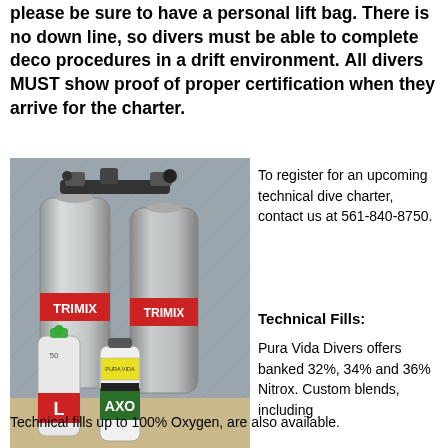please be sure to have a personal lift bag. There is no down line, so divers must be able to complete deco procedures in a drift environment. All divers MUST show proof of proper certification when they arrive for the charter.
[Figure (photo): Two large silvery Trimix scuba tanks on the left with a black manifold on top, and two smaller tanks in front — one white with a red label and one white/green labeled AXO — all standing on a tiled floor against a metal diamond-plate wall.]
To register for an upcoming technical dive charter, contact us at 561-840-8750.
Technical Fills:
Pura Vida Divers offers banked 32%, 34% and 36% Nitrox. Custom blends, including
Technical fills up to 100% Oxygen, are also available.